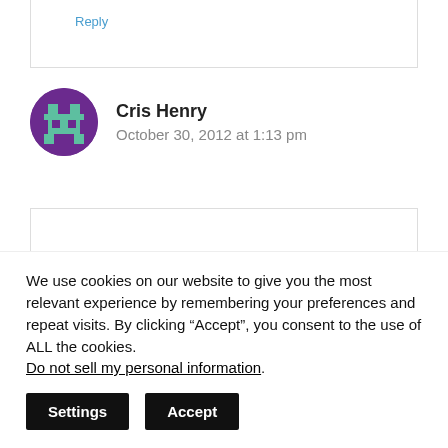Reply
Cris Henry
October 30, 2012 at 1:13 pm
Chocolate!!!!
We use cookies on our website to give you the most relevant experience by remembering your preferences and repeat visits. By clicking “Accept”, you consent to the use of ALL the cookies.
Do not sell my personal information.
Settings
Accept